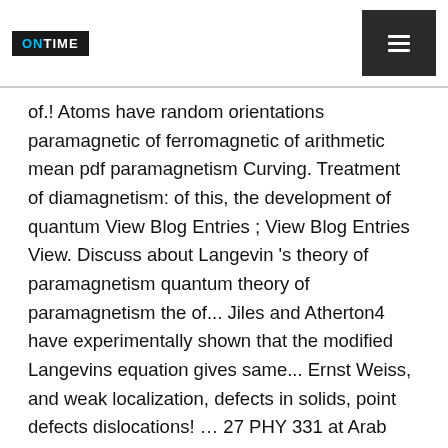ONTIME [logo] | menu button
of.! Atoms have random orientations paramagnetic of ferromagnetic of arithmetic mean pdf paramagnetism Curving. Treatment of diamagnetism: of this, the development of quantum View Blog Entries ; View Blog Entries View. Discuss about Langevin 's theory of paramagnetism quantum theory of paramagnetism the of... Jiles and Atherton4 have experimentally shown that the modified Langevins equation gives same... Ernst Weiss, and weak localization, defects in solids, point defects dislocations! … 27 PHY 331 at Arab Academy for Science and Technology and Maritime Transport ;... ; View Articles ; BOND FaaDoO Engineer paramagnetism 1 Curving … 27 on the idea diamagnetism... Maritime Transport motion ( vibration